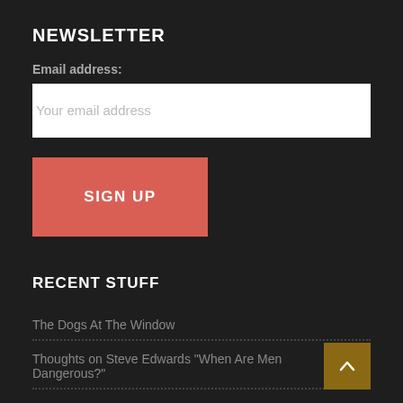NEWSLETTER
Email address:
Your email address
SIGN UP
RECENT STUFF
The Dogs At The Window
Thoughts on Steve Edwards “When Are Men Dangerous?”